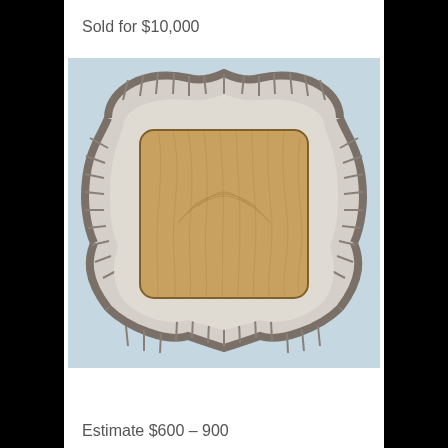Sold for $10,000
[Figure (photo): A silver serving tray with decorative gadroon border and a wooden cutting board insert, viewed from above on a light blue background.]
Estimate $600 – 900